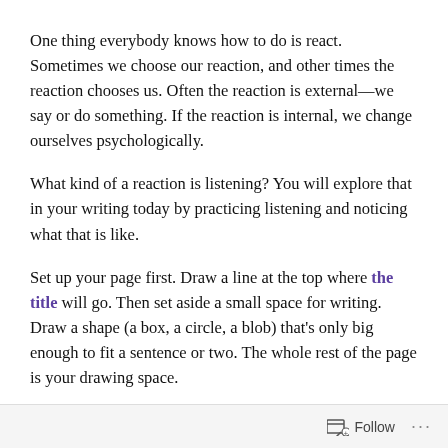One thing everybody knows how to do is react. Sometimes we choose our reaction, and other times the reaction chooses us. Often the reaction is external—we say or do something. If the reaction is internal, we change ourselves psychologically.
What kind of a reaction is listening? You will explore that in your writing today by practicing listening and noticing what that is like.
Set up your page first. Draw a line at the top where the title will go. Then set aside a small space for writing. Draw a shape (a box, a circle, a blob) that's only big enough to fit a sentence or two. The whole rest of the page is your drawing space.
Without saying anything, draw in your drawing space
Follow ···